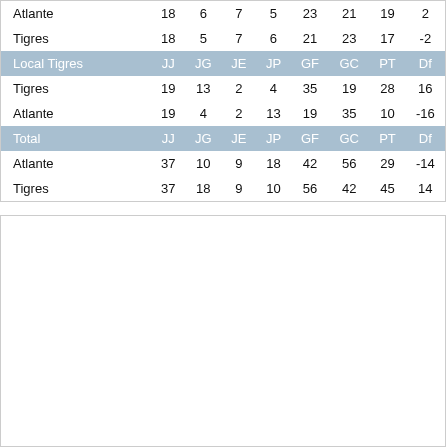|  | JJ | JG | JE | JP | GF | GC | PT | Df |
| --- | --- | --- | --- | --- | --- | --- | --- | --- |
| Atlante | 18 | 6 | 7 | 5 | 23 | 21 | 19 | 2 |
| Tigres | 18 | 5 | 7 | 6 | 21 | 23 | 17 | -2 |
| Local Tigres | JJ | JG | JE | JP | GF | GC | PT | Df |
| Tigres | 19 | 13 | 2 | 4 | 35 | 19 | 28 | 16 |
| Atlante | 19 | 4 | 2 | 13 | 19 | 35 | 10 | -16 |
| Total | JJ | JG | JE | JP | GF | GC | PT | Df |
| Atlante | 37 | 10 | 9 | 18 | 42 | 56 | 29 | -14 |
| Tigres | 37 | 18 | 9 | 10 | 56 | 42 | 45 | 14 |